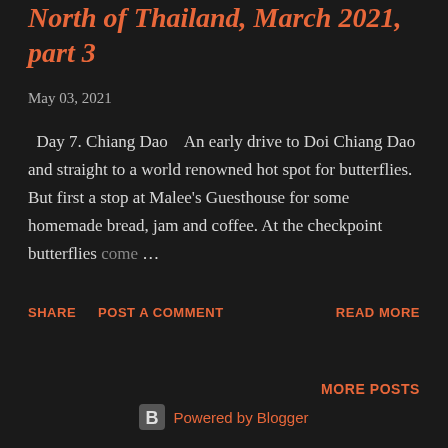North of Thailand, March 2021, part 3
May 03, 2021
Day 7. Chiang Dao   An early drive to Doi Chiang Dao and straight to a world renowned hot spot for butterflies. But first a stop at Malee's Guesthouse for some homemade bread, jam and coffee. At the checkpoint butterflies come …
SHARE   POST A COMMENT   READ MORE
MORE POSTS
Powered by Blogger